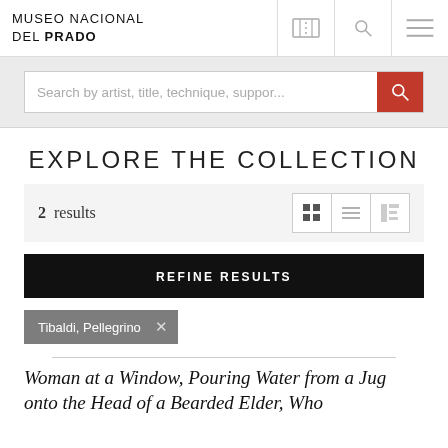MUSEO NACIONAL DEL PRADO
Search by artist, title, technique, suppor...
EXPLORE THE COLLECTION
2 results
REFINE RESULTS
Tibaldi, Pellegrino ×
Woman at a Window, Pouring Water from a Jug onto the Head of a Bearded Elder, Who